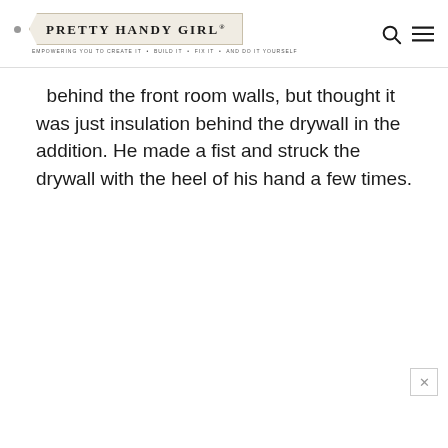PRETTY HANDY GIRL® — EMPOWERING YOU TO CREATE IT • BUILD IT • FIX IT • AND DO IT YOURSELF
behind the front room walls, but thought it was just insulation behind the drywall in the addition. He made a fist and struck the drywall with the heel of his hand a few times.